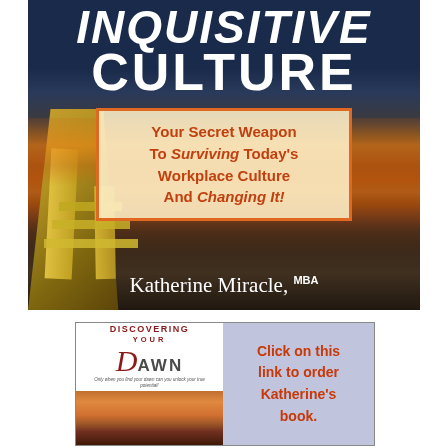[Figure (illustration): Book cover for 'Inquisitive Culture' by Katherine Miracle, MBA. Dark blue and sunset beach background with lifeguard stand on left. Title at top in white italic bold text: INQUISITIVE CULTURE. Yellow-bordered red box with subtitle: Your Secret Weapon To Surviving Today's Workplace Culture And Changing It! Author name at bottom: Katherine Miracle, MBA.]
[Figure (illustration): Thumbnail of book 'Discovering Your Dawn' with orange sunset image and text panel reading 'Click on this link to order Katherine's book.' in red on light blue background.]